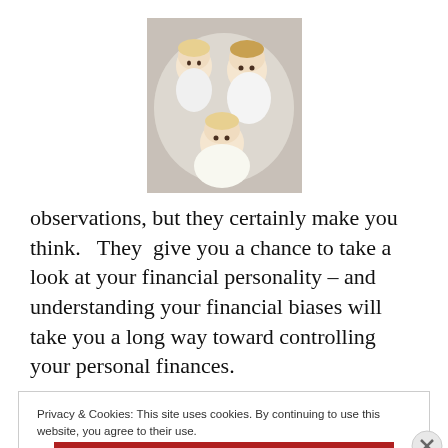[Figure (photo): Portrait photo of three young children dressed in white, posed together against a light background.]
observations, but they certainly make you think.   They  give you a chance to take a look at your financial personality – and understanding your financial biases will take you a long way toward controlling your personal finances.
Privacy & Cookies: This site uses cookies. By continuing to use this website, you agree to their use.
To find out more, including how to control cookies, see here: Cookie Policy
Close and accept